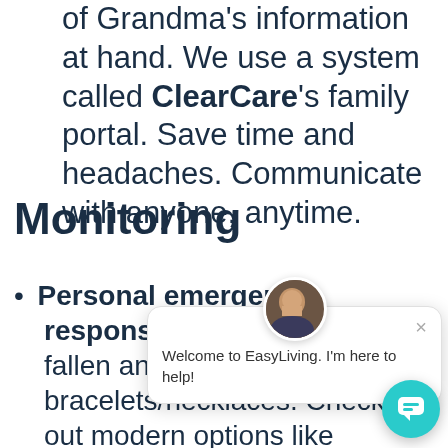of Grandma's information at hand. We use a system called ClearCare's family portal. Save time and headaches. Communicate with anyone, anytime.
Monitoring
Personal emergency response systems – fallen and can't get up bracelets/necklaces. Check out modern options like FallCall, systems with GPS and other possibilities...
[Figure (screenshot): Chat popup overlay with avatar photo of a man in a suit, close button (×), and message 'Welcome to EasyLiving. I'm here to help!' with a teal chat button in the bottom right corner.]